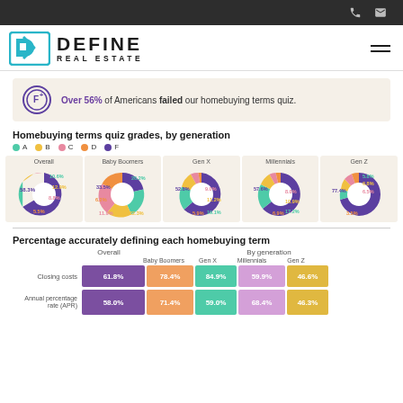Define Real Estate - navigation bar with phone and email icons
[Figure (logo): Define Real Estate logo with teal D icon and bold black DEFINE REAL ESTATE text]
Over 56% of Americans failed our homebuying terms quiz.
Homebuying terms quiz grades, by generation
[Figure (donut-chart): Overall]
[Figure (donut-chart): Baby Boomers]
[Figure (donut-chart): Gen X]
[Figure (donut-chart): Millennials]
[Figure (donut-chart): Gen Z]
Percentage accurately defining each homebuying term
|  | Overall | Baby Boomers | Gen X | Millennials | Gen Z |
| --- | --- | --- | --- | --- | --- |
| Closing costs | 61.8% | 78.4% | 84.9% | 59.9% | 46.6% |
| Annual percentage rate (APR) | 58.0% | 71.4% | 59.0% | 68.4% | 46.3% |